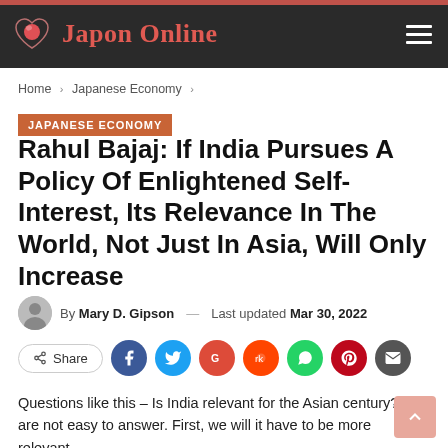Japon Online
Home > Japanese Economy >
JAPANESE ECONOMY
Rahul Bajaj: If India Pursues A Policy Of Enlightened Self-Interest, Its Relevance In The World, Not Just In Asia, Will Only Increase
By Mary D. Gipson — Last updated Mar 30, 2022
Share
Questions like this – Is India relevant for the Asian century? – are not easy to answer. First, we will it have to be more relevant...